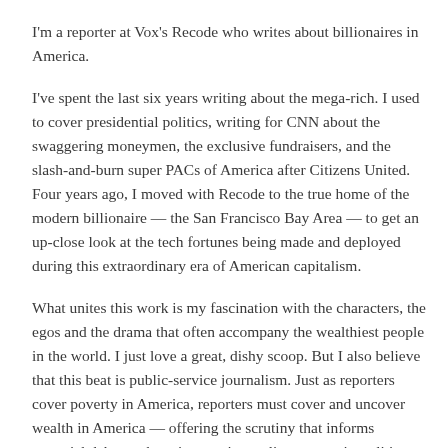I'm a reporter at Vox's Recode who writes about billionaires in America.
I've spent the last six years writing about the mega-rich. I used to cover presidential politics, writing for CNN about the swaggering moneymen, the exclusive fundraisers, and the slash-and-burn super PACs of America after Citizens United. Four years ago, I moved with Recode to the true home of the modern billionaire — the San Francisco Bay Area — to get an up-close look at the tech fortunes being made and deployed during this extraordinary era of American capitalism.
What unites this work is my fascination with the characters, the egos and the drama that often accompany the wealthiest people in the world. I just love a great, dishy scoop. But I also believe that this beat is public-service journalism. Just as reporters cover poverty in America, reporters must cover and uncover wealth in America — offering the scrutiny that informs essential debates about income inequality, money-in-politics,